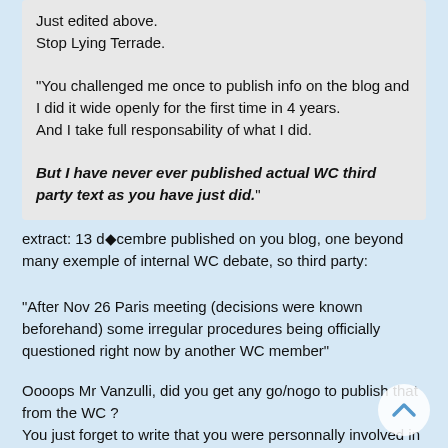Just edited above.
Stop Lying Terrade.

"You challenged me once to publish info on the blog and I did it wide openly for the first time in 4 years.
And I take full responsability of what I did.

But I have never ever published actual WC third party text as you have just did."
extract: 13 d◆cembre published on you blog, one beyond many exemple of internal WC debate, so third party:
"After Nov 26 Paris meeting (decisions were known beforehand) some irregular procedures being officially questioned right now by another WC member"
Oooops Mr Vanzulli, did you get any go/nogo to publish that from the WC ?
You just forget to write that you were personnally involved in this debate.